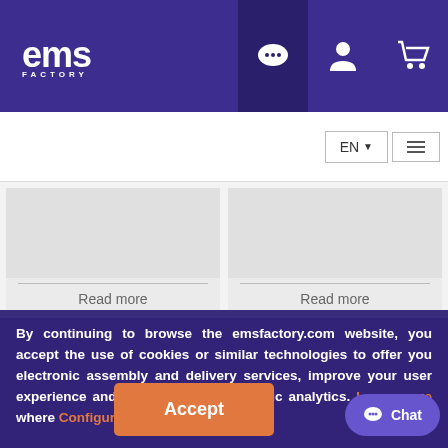EMS FACTORY
[Figure (screenshot): Two article card images with 'Read more' links side by side]
By continuing to browse the emsfactory.com website, you accept the use of cookies or similar technologies to offer you electronic assembly and delivery services, improve your user experience and let us make some basic analytics. Learn more where Configure Cookies
Accept
Chat